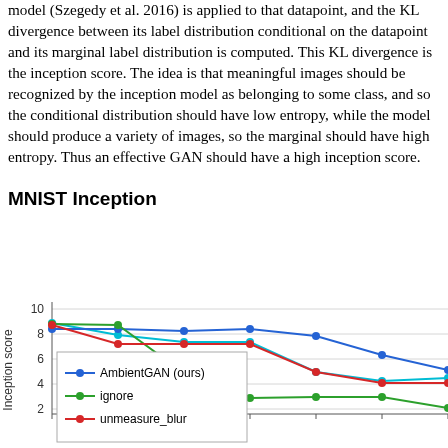model (Szegedy et al. 2016) is applied to that datapoint, and the KL divergence between its label distribution conditional on the datapoint and its marginal label distribution is computed. This KL divergence is the inception score. The idea is that meaningful images should be recognized by the inception model as belonging to some class, and so the conditional distribution should have low entropy, while the model should produce a variety of images, so the marginal should have high entropy. Thus an effective GAN should have a high inception score.
MNIST Inception
[Figure (line-chart): Line chart showing inception score vs x-axis for multiple GAN methods. Y-axis ranges from 2 to 10. Blue line (AmbientGAN) stays relatively high (~8.5), green line (ignore) drops significantly, red line (unmeasure_blur) also drops. A legend is shown in the lower left.]